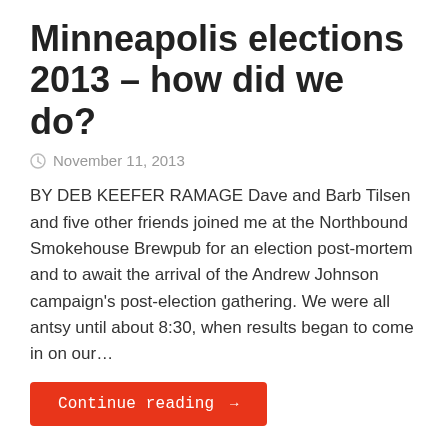Minneapolis elections 2013 – how did we do?
November 11, 2013
BY DEB KEEFER RAMAGE Dave and Barb Tilsen and five other friends joined me at the Northbound Smokehouse Brewpub for an election post-mortem and to await the arrival of the Andrew Johnson campaign's post-election gathering. We were all antsy until about 8:30, when results began to come in on our…
Continue reading →
March against racism
November 10, 2013
BY DAVID TILSEN On Thursday evening, Nov. 7, the Vikings will